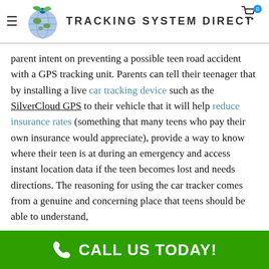Tracking System Direct
parent intent on preventing a possible teen road accident with a GPS tracking unit. Parents can tell their teenager that by installing a live car tracking device such as the SilverCloud GPS to their vehicle that it will help reduce insurance rates (something that many teens who pay their own insurance would appreciate), provide a way to know where their teen is at during an emergency and access instant location data if the teen becomes lost and needs directions. The reasoning for using the car tracker comes from a genuine and concerning place that teens should be able to understand,
CALL US TODAY!